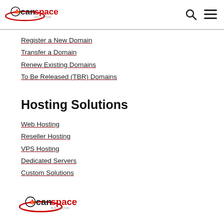[Figure (logo): CanSpace Solutions logo with maple leaf icon, top header]
Register a New Domain
Transfer a Domain
Renew Existing Domains
To Be Released (TBR) Domains
Hosting Solutions
Web Hosting
Reseller Hosting
VPS Hosting
Dedicated Servers
Custom Solutions
[Figure (logo): CanSpace Solutions logo at page bottom]